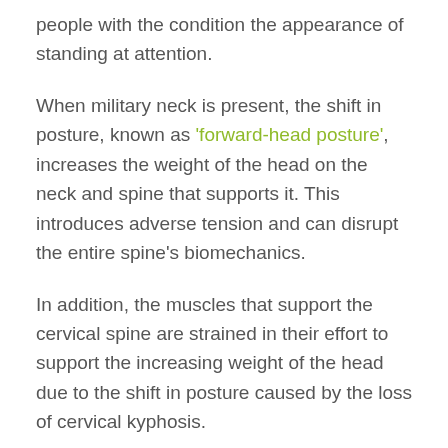people with the condition the appearance of standing at attention.
When military neck is present, the shift in posture, known as 'forward-head posture', increases the weight of the head on the neck and spine that supports it. This introduces adverse tension and can disrupt the entire spine's biomechanics.
In addition, the muscles that support the cervical spine are strained in their effort to support the increasing weight of the head due to the shift in posture caused by the loss of cervical kyphosis.